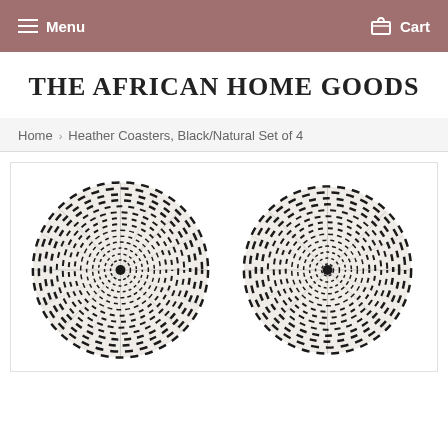Menu   Cart
THE AFRICAN HOME GOODS
Home › Heather Coasters, Black/Natural Set of 4
[Figure (photo): Two round woven coasters with black and natural/cream striped pattern, viewed from above against a white background.]